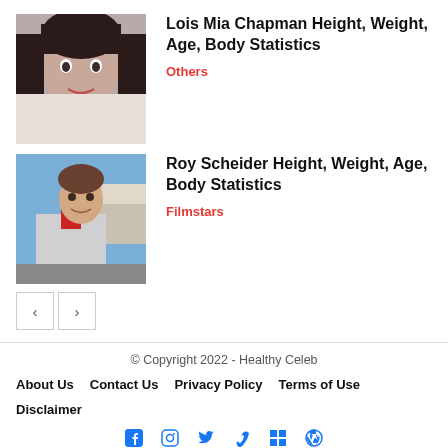[Figure (photo): Photo of Lois Mia Chapman, a young woman with dark hair]
Lois Mia Chapman Height, Weight, Age, Body Statistics
Others
[Figure (photo): Photo of Roy Scheider, a man in a grey jacket outdoors]
Roy Scheider Height, Weight, Age, Body Statistics
Filmstars
© Copyright 2022 - Healthy Celeb
About Us  Contact Us  Privacy Policy  Terms of Use
Disclaimer